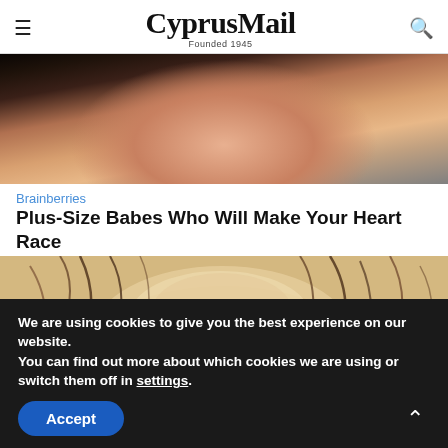CyprusMail Founded 1945
[Figure (photo): Close-up photo of a woman's face and upper body, dark hair, black top]
Brainberries
Plus-Size Babes Who Will Make Your Heart Race
[Figure (photo): Top-down view of a person's head showing hair thinning/hair loss on the crown]
We are using cookies to give you the best experience on our website.
You can find out more about which cookies we are using or switch them off in settings.
Accept